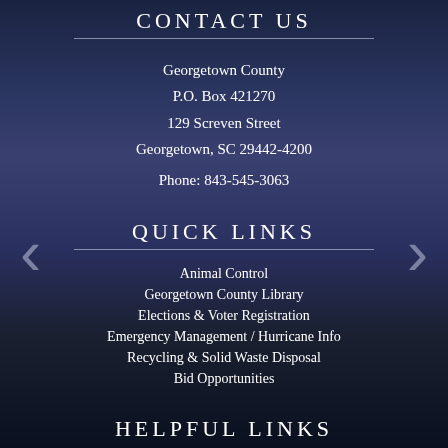CONTACT US
Georgetown County
P.O. Box 421270
129 Screven Street
Georgetown, SC 29442-4200
Phone: 843-545-3063
QUICK LINKS
Animal Control
Georgetown County Library
Elections & Voter Registration
Emergency Management / Hurricane Info
Recycling & Solid Waste Disposal
Bid Opportunities
HELPFUL LINKS